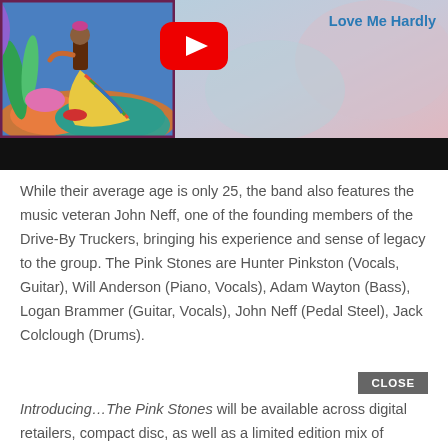[Figure (screenshot): YouTube video thumbnail showing colorful album art on the left and a blurred pastel background on the right with the text 'Love Me Hardly' in blue, and a YouTube play button overlay in the center.]
While their average age is only 25, the band also features the music veteran John Neff, one of the founding members of the Drive-By Truckers, bringing his experience and sense of legacy to the group. The Pink Stones are Hunter Pinkston (Vocals, Guitar), Will Anderson (Piano, Vocals), Adam Wayton (Bass), Logan Brammer (Guitar, Vocals), John Neff (Pedal Steel), Jack Colclough (Drums).
CLOSE
Introducing…The Pink Stones will be available across digital retailers, compact disc, as well as a limited edition mix of random